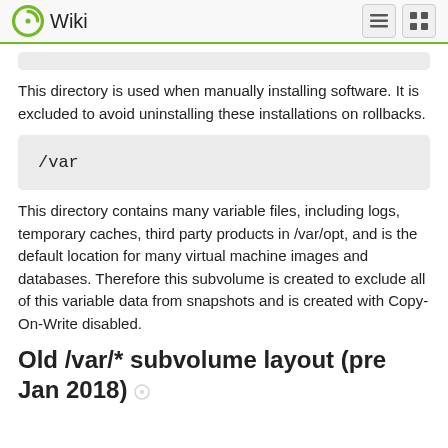Wiki
This directory is used when manually installing software. It is excluded to avoid uninstalling these installations on rollbacks.
/var
This directory contains many variable files, including logs, temporary caches, third party products in /var/opt, and is the default location for many virtual machine images and databases. Therefore this subvolume is created to exclude all of this variable data from snapshots and is created with Copy-On-Write disabled.
Old /var/* subvolume layout (pre Jan 2018)